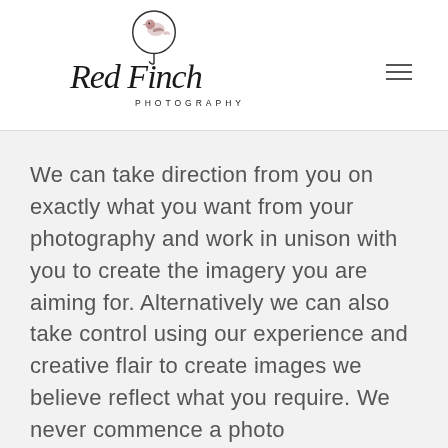[Figure (logo): Red Finch Photography logo: a stylized bird (finch) silhouette in a circle above cursive script text 'Red Finch' with 'PHOTOGRAPHY' in spaced capitals beneath]
We can take direction from you on exactly what you want from your photography and work in unison with you to create the imagery you are aiming for. Alternatively we can also take control using our experience and creative flair to create images we believe reflect what you require. We never commence a photo